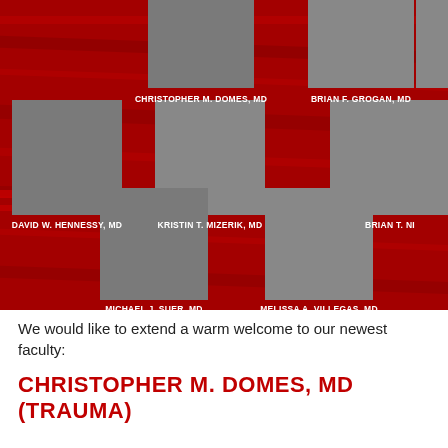[Figure (photo): Faculty photo collage on red background showing portraits of Christopher M. Domes MD, Brian F. Grogan MD, David W. Hennessy MD, Kristin T. Mizerik MD, Brian T. Ni[cholson] MD (partially visible), Michael J. Suer MD, and Melissa A. Villegas MD]
We would like to extend a warm welcome to our newest faculty:
CHRISTOPHER M. DOMES, MD (TRAUMA)